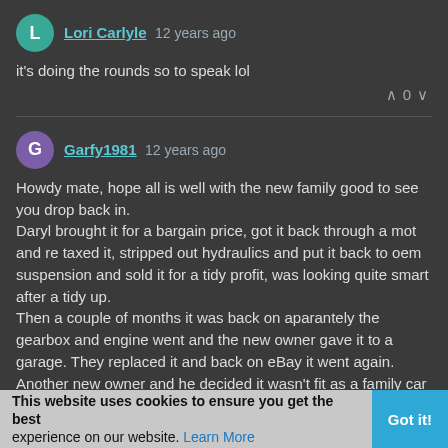Lori Carlyle 12 years ago
it's doing the rounds so to speak lol
Garfy1981 12 years ago
Howdy mate, hope all is well with the new family good to see you drop back in.
Daryl brought it for a bargain price, got it back through a mot and re taxed it, stripped out hydraulics and put it back to oem suspension and sold it for a tidy profit, was looking quite smart after a tidy up.
Then a couple of months it was back on aparantely the gearbox and engine went and the new owner gave it to a garage. They replaced it and back on eBay it went again. Another new owner and he decided it wasn't fit as a family car so on it went again, now appears to be in a dealers hand who is selling it again at a 600 increased price.
So since your sell it looks like no one has really enjoyed it and just been selling it around as a cheap car I pse.
This website uses cookies to ensure you get the best experience on our website. Learn More